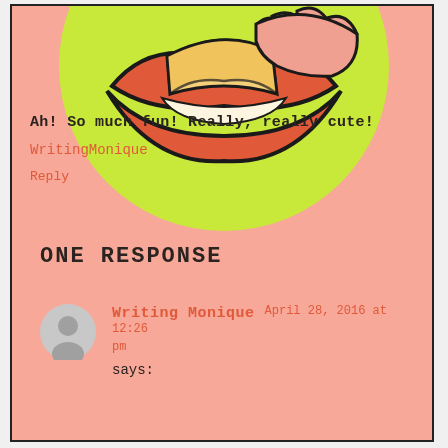[Figure (illustration): Illustrated close-up of lips biting a folded paper or envelope, on a yellow-green circular background, against a salmon/peach background. Cartoon/pop-art style with bold black outlines.]
ONE RESPONSE
[Figure (illustration): Gray circular avatar icon showing a generic person silhouette]
Writing Monique April 28, 2016 at 12:26 pm says:
Ah! So much fun! Really, really cute!
WritingMonique
Reply